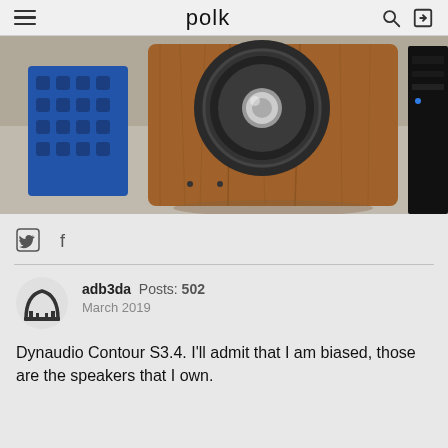polk
[Figure (photo): A wooden speaker (Dynaudio Contour S3.4) on carpet, with a blue milk crate on the left and a black computer tower on the right.]
adb3da  Posts: 502  March 2019
Dynaudio Contour S3.4. I'll admit that I am biased, those are the speakers that I own.